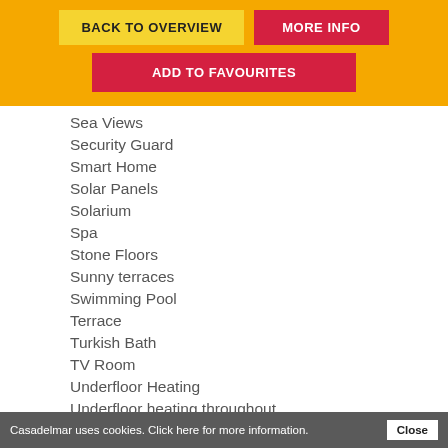[Figure (screenshot): Navigation button bar with yellow 'BACK TO OVERVIEW', red 'MORE INFO', and red 'ADD TO FAVOURITES' buttons on an orange background]
Sea Views
Security Guard
Smart Home
Solar Panels
Solarium
Spa
Stone Floors
Sunny terraces
Swimming Pool
Terrace
Turkish Bath
TV Room
Underfloor Heating
Underfloor heating throughout
Video Cameras
Video entry system
Wine Cellar
Casadelmar uses cookies. Click here for more information. Close